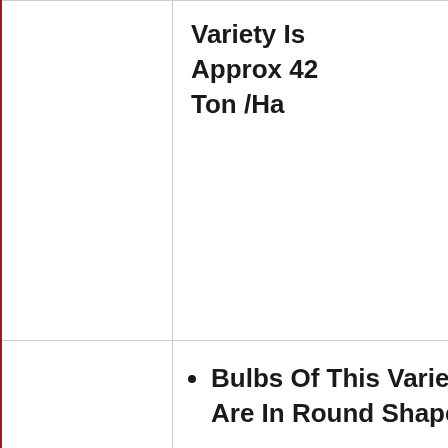|  | Variety Is Approx 42 Ton /Ha |
|  | • Bulbs Of This Variety Are In Round Shape.
• The Colour Of This Variety Is |